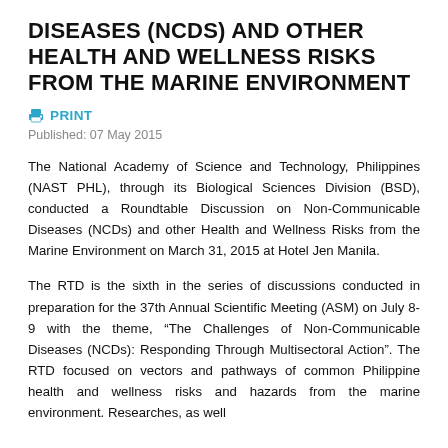DISEASES (NCDS) AND OTHER HEALTH AND WELLNESS RISKS FROM THE MARINE ENVIRONMENT
PRINT
Published: 07 May 2015
The National Academy of Science and Technology, Philippines (NAST PHL), through its Biological Sciences Division (BSD), conducted a Roundtable Discussion on Non-Communicable Diseases (NCDs) and other Health and Wellness Risks from the Marine Environment on March 31, 2015 at Hotel Jen Manila.
The RTD is the sixth in the series of discussions conducted in preparation for the 37th Annual Scientific Meeting (ASM) on July 8-9 with the theme, “The Challenges of Non-Communicable Diseases (NCDs): Responding Through Multisectoral Action”. The RTD focused on vectors and pathways of common Philippine health and wellness risks and hazards from the marine environment. Researches, as well